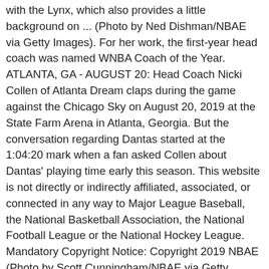with the Lynx, which also provides a little background on ... (Photo by Ned Dishman/NBAE via Getty Images). For her work, the first-year head coach was named WNBA Coach of the Year. ATLANTA, GA - AUGUST 20: Head Coach Nicki Collen of Atlanta Dream claps during the game against the Chicago Sky on August 20, 2019 at the State Farm Arena in Atlanta, Georgia. But the conversation regarding Dantas started at the 1:04:20 mark when a fan asked Collen about Dantas' playing time early this season. This website is not directly or indirectly affiliated, associated, or connected in any way to Major League Baseball, the National Basketball Association, the National Football League or the National Hockey League. Mandatory Copyright Notice: Copyright 2019 NBAE (Photo by Scott Cunningham/NBAE via Getty Images). Women's Basketball news from FanSided Daily, 2018 WNBA Finals: Sue Bird would decline White House invite after title win, Takeaways from USA Basketball's final FIBA World Cup roster, Your Day in Women's Basketball, October 19: NCAA